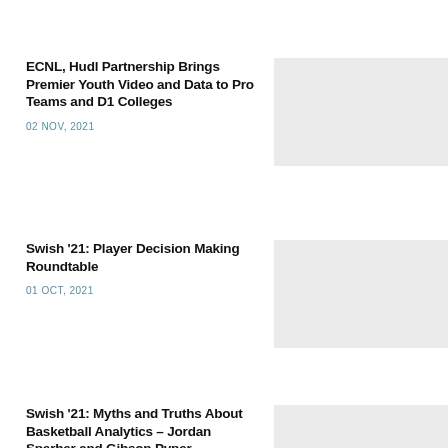ECNL, Hudl Partnership Brings Premier Youth Video and Data to Pro Teams and D1 Colleges
02 NOV, 2021
[Figure (photo): Gray placeholder image for ECNL Hudl article]
Swish '21: Player Decision Making Roundtable
01 OCT, 2021
[Figure (photo): Gray placeholder image for Swish 21 Player Decision Making article]
Swish '21: Myths and Truths About Basketball Analytics – Jordan Sperber and Gibson Pyper
[Figure (photo): Gray placeholder image for Swish 21 Myths and Truths article]